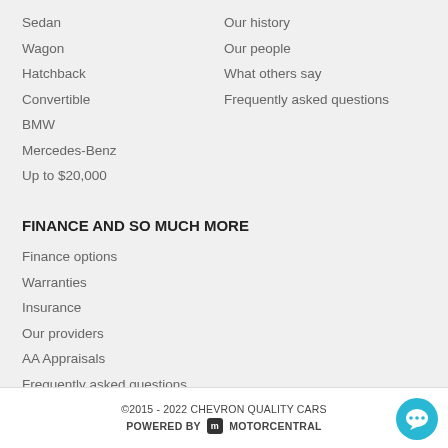Sedan
Wagon
Hatchback
Convertible
BMW
Mercedes-Benz
Up to $20,000
Our history
Our people
What others say
Frequently asked questions
FINANCE AND SO MUCH MORE
Finance options
Warranties
Insurance
Our providers
AA Appraisals
Frequently asked questions
©2015 - 2022 CHEVRON QUALITY CARS POWERED BY MOTORCENTRAL